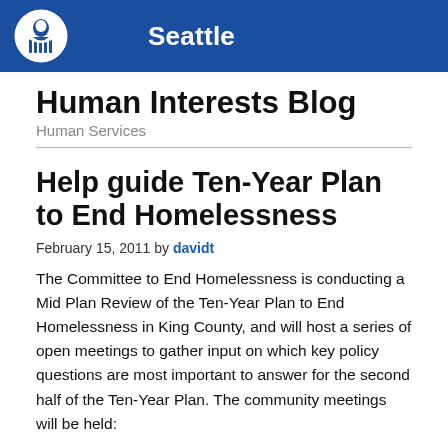Seattle
Human Interests Blog
Human Services
Help guide Ten-Year Plan to End Homelessness
February 15, 2011 by davidt
The Committee to End Homelessness is conducting a Mid Plan Review of the Ten-Year Plan to End Homelessness in King County, and will host a series of open meetings to gather input on which key policy questions are most important to answer for the second half of the Ten-Year Plan. The community meetings will be held: